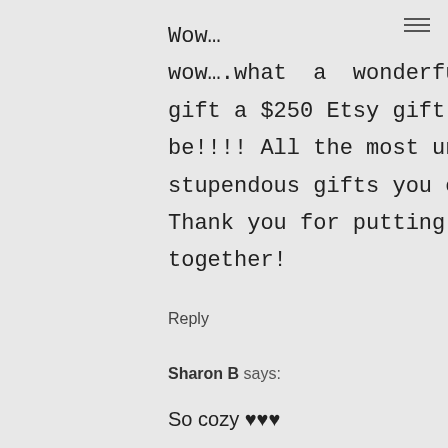Wow…wow….what a wonderful gift a $250 Etsy gift card would be!!!! All the most unique and stupendous gifts you could get. Thank you for putting this together!
Reply
Sharon B says:
So cozy ♥♥♥